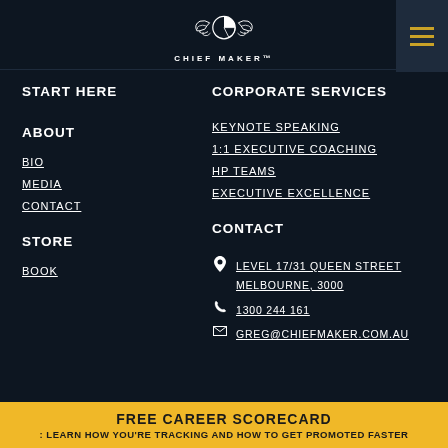[Figure (logo): Chief Maker logo with wings and circular chart icon]
START HERE
ABOUT
BIO
MEDIA
CONTACT
STORE
BOOK
CORPORATE SERVICES
KEYNOTE SPEAKING
1:1 EXECUTIVE COACHING
HP TEAMS
EXECUTIVE EXCELLENCE
CONTACT
LEVEL 17/31 QUEEN STREET MELBOURNE, 3000
1300 244 161
GREG@CHIEFMAKER.COM.AU
FREE CAREER SCORECARD : LEARN HOW YOU'RE TRACKING AND HOW TO GET PROMOTED FASTER